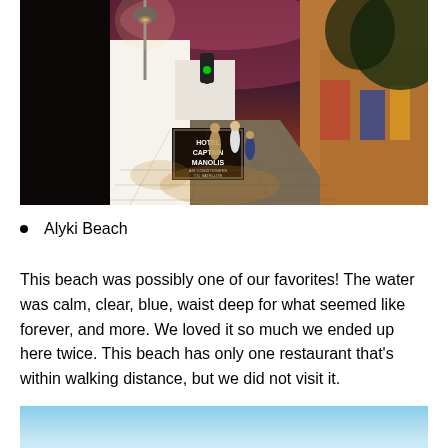[Figure (photo): Nighttime street scene in a Greek island town (likely Mykonos or Paros), showing a cobblestone pedestrian alley lined with white buildings, lanterns glowing, tourists walking, a hotel sign reading 'HOTEL CAPTAIN MANOLIS' with text about air conditioning, TV, satellite. Trees and colorful storefronts visible on the right.]
Alyki Beach
This beach was possibly one of our favorites! The water was calm, clear, blue, waist deep for what seemed like forever, and more. We loved it so much we ended up here twice. This beach has only one restaurant that's within walking distance, but we did not visit it.
[Figure (photo): Partial view of a beach scene showing blue sky and light blue water/horizon at the bottom of the page.]